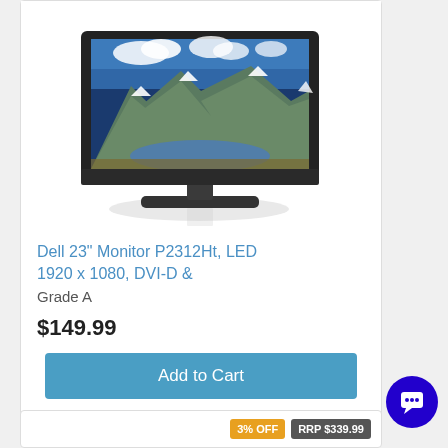[Figure (photo): Dell 23 inch monitor P2312Ht with landscape wallpaper showing mountains and lake on screen, black bezel and stand, with subtle reflection below]
Dell 23" Monitor P2312Ht, LED 1920 x 1080, DVI-D &
Grade A
$149.99
Add to Cart
3% OFF  RRP $339.99